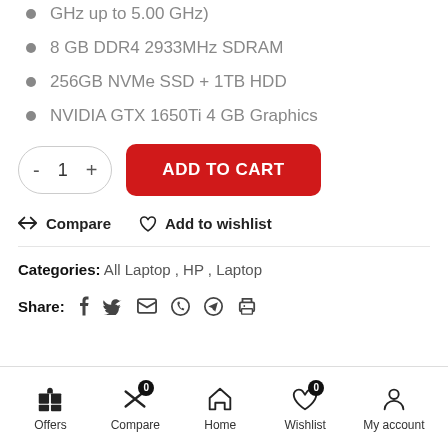GHz up to 5.00 GHz)
8 GB DDR4 2933MHz SDRAM
256GB NVMe SSD + 1TB HDD
NVIDIA GTX 1650Ti 4 GB Graphics
ADD TO CART (quantity: 1)
Compare  Add to wishlist
Categories: All Laptop , HP , Laptop
Share:
Offers  Compare 0  Home  Wishlist 0  My account